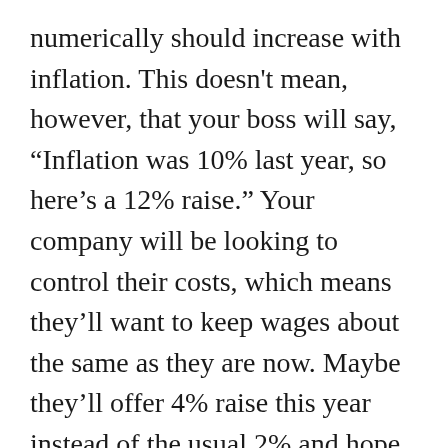numerically should increase with inflation. This doesn't mean, however, that your boss will say, “Inflation was 10% last year, so here’s a 12% raise.” Your company will be looking to control their costs, which means they’ll want to keep wages about the same as they are now. Maybe they’ll offer 4% raise this year instead of the usual 2% and hope people think they’re getting a great bonus, but they won’t be willingly giving out enough to keep up with inflation.
To get a good raise, particularly if your in the middle or upper pay ranges, you’ll need to shop around. You might need to change jobs to get the